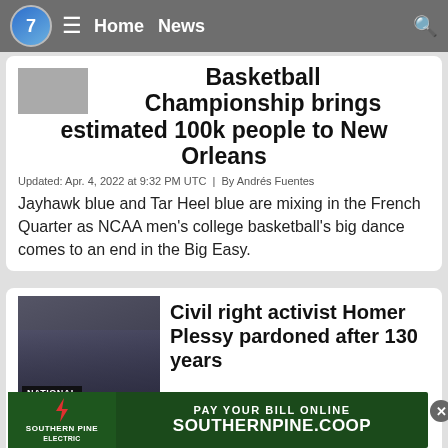7  ≡  Home  News
Basketball Championship brings estimated 100k people to New Orleans
Updated: Apr. 4, 2022 at 9:32 PM UTC  |  By Andrés Fuentes
Jayhawk blue and Tar Heel blue are mixing in the French Quarter as NCAA men's college basketball's big dance comes to an end in the Big Easy.
Civil right activist Homer Plessy pardoned after 130 years
Updated: Jan. 5, 2022 at 11:01 PM UTC  |  By Andrés Fuentes
A crowd gathered on NOCCA's campus Wednesday morning...Louis...
[Figure (screenshot): Southern Pine Electric advertisement banner: PAY YOUR BILL ONLINE SOUTHERNPINE.COOP]